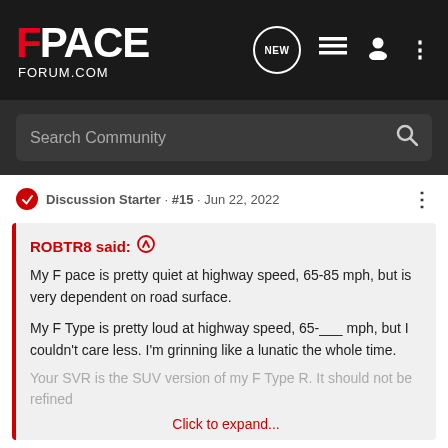[Figure (screenshot): FPace Forum navigation bar with logo, search bar, and icons]
Discussion Starter · #15 · Jun 22, 2022
ROBTR8 said: ↑
My F pace is pretty quiet at highway speed, 65-85 mph, but is very dependent on road surface.

My F Type is pretty loud at highway speed, 65-___ mph, but I couldn't care less. I'm grinning like a lunatic the whole time.

Your SVR is the SUV version of my F Type R. It should not be refined
Click to expand...
They did change A pillar trims and tape up everywhere but said it sounded same. They had an 19 reg in which they said sounded noisier so maybe its a trait. I dont honestly think it is but to give me it will be a sensor to fix above. It Thei ...